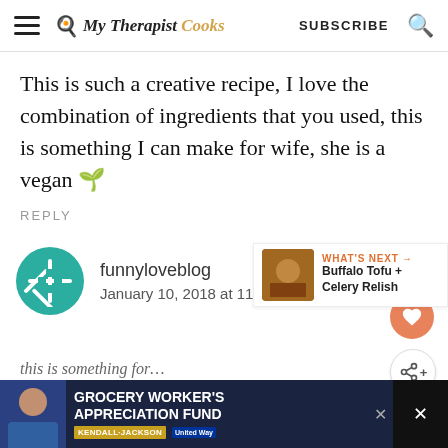My Therapist Cooks | SUBSCRIBE
This is such a creative recipe, I love the combination of ingredients that you used, this is something I can make for wife, she is a vegan 🌱
REPLY
funnyloveblog
January 10, 2018 at 11
[Figure (other): GROCERY WORKER'S APPRECIATION FUND advertisement banner with Kendall Jackson and United Way logos]
WHAT'S NEXT → Buffalo Tofu + Celery Relish